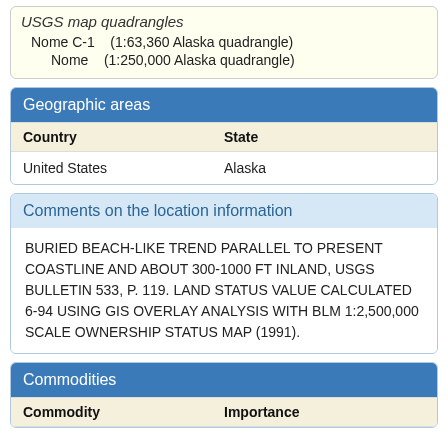USGS map quadrangles
Nome C-1    (1:63,360 Alaska quadrangle)
Nome    (1:250,000 Alaska quadrangle)
Geographic areas
| Country | State |
| --- | --- |
| United States | Alaska |
Comments on the location information
BURIED BEACH-LIKE TREND PARALLEL TO PRESENT COASTLINE AND ABOUT 300-1000 FT INLAND, USGS BULLETIN 533, P. 119. LAND STATUS VALUE CALCULATED 6-94 USING GIS OVERLAY ANALYSIS WITH BLM 1:2,500,000 SCALE OWNERSHIP STATUS MAP (1991).
Commodities
| Commodity | Importance |
| --- | --- |